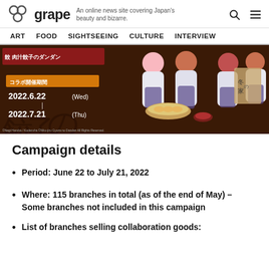grape — An online news site covering Japan's beauty and bizarre.
ART  FOOD  SIGHTSEEING  CULTURE  INTERVIEW
[Figure (photo): Promotional banner for a collaboration campaign between gyoza restaurant Niku-jiru Gyoza no Dandan and an anime. Features anime characters dressed as waitresses holding gyoza dishes. Date shown: 2022.6.22(Wed) to 2022.7.21(Thu). Japanese text on sign.]
Campaign details
Period: June 22 to July 21, 2022
Where: 115 branches in total (as of the end of May) – Some branches not included in this campaign
List of branches selling collaboration goods: